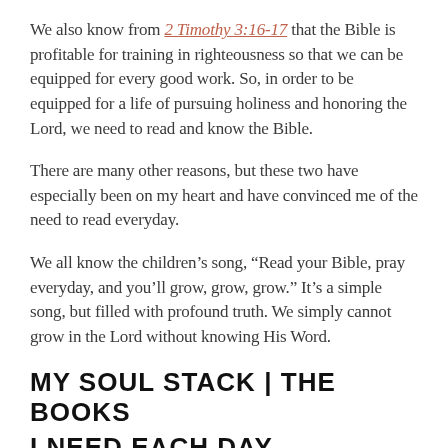We also know from 2 Timothy 3:16-17 that the Bible is profitable for training in righteousness so that we can be equipped for every good work. So, in order to be equipped for a life of pursuing holiness and honoring the Lord, we need to read and know the Bible.
There are many other reasons, but these two have especially been on my heart and have convinced me of the need to read everyday.
We all know the children’s song, “Read your Bible, pray everyday, and you’ll grow, grow, grow.” It’s a simple song, but filled with profound truth. We simply cannot grow in the Lord without knowing His Word.
MY SOUL STACK | THE BOOKS
I NEED EACH DAY